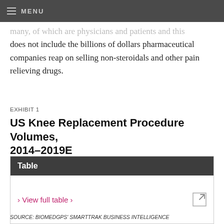MENU
many, of which are physicians and patients and this does not include the billions of dollars pharmaceutical companies reap on selling non-steroidals and other pain relieving drugs.
EXHIBIT 1
US Knee Replacement Procedure Volumes, 2014–2019E
| Table |
| --- |
| › View full table › |
SOURCE: BIOMEDGPS' SMARTTRAK BUSINESS INTELLIGENCE
The culprit is knee osteoarthritis, a natural function of aging where craters form in the joint's articular surface as a result of overuse. It may also develop at a young age